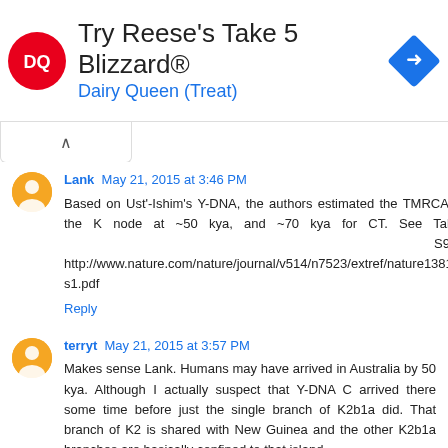[Figure (infographic): Dairy Queen advertisement banner: DQ logo, text 'Try Reese's Take 5 Blizzard® Dairy Queen (Treat)', blue arrow diamond icon]
Lank May 21, 2015 at 3:46 PM
Based on Ust'-Ishim's Y-DNA, the authors estimated the TMRCA of the K node at ~50 kya, and ~70 kya for CT. See Table S9.1: http://www.nature.com/nature/journal/v514/n7523/extref/nature13810-s1.pdf
Reply
terryt May 21, 2015 at 3:57 PM
Makes sense Lank. Humans may have arrived in Australia by 50 kya. Although I actually suspect that Y-DNA C arrived there some time before just the single branch of K2b1a did. That branch of K2 is shared with New Guinea and the other K2b1a branches are basically confined to that island